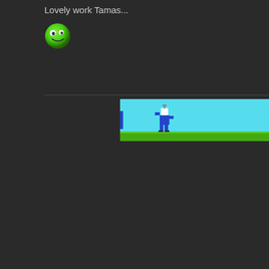Lovely work Tamas...
[Figure (illustration): Green smiley face emoji ball]
[Figure (screenshot): Pixel art video game scene with a blue character running on green ground against a cyan sky background]